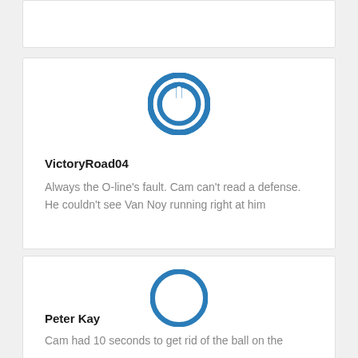[Figure (other): Partial card at top, cut off]
[Figure (logo): Blue power button icon / avatar for VictoryRoad04]
VictoryRoad04
Always the O-line’s fault. Cam can’t read a defense. He couldn’t see Van Noy running right at him
[Figure (logo): Blue power button icon / avatar for Peter Kay]
Peter Kay
Cam had 10 seconds to get rid of the ball on the